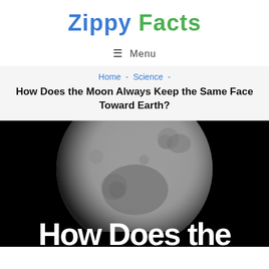Zippy Facts
≡  Menu
Home  -  Science  -  How Does the Moon Always Keep the Same Face Toward Earth?
How Does the Moon Always Keep the Same Face Toward Earth?
[Figure (photo): Close-up image of the Moon against a black background, with text overlay reading 'How Does the']